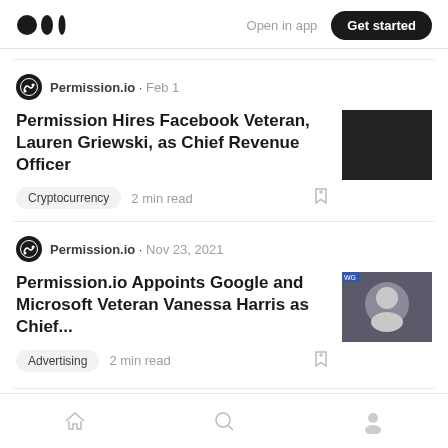Medium logo | Open in app | Get started
Permission.io · Feb 1
Permission Hires Facebook Veteran, Lauren Griewski, as Chief Revenue Officer
Cryptocurrency  2 min read
Permission.io · Nov 23, 2021
Permission.io Appoints Google and Microsoft Veteran Vanessa Harris as Chief...
Advertising  2 min read
Home | Search | Profile